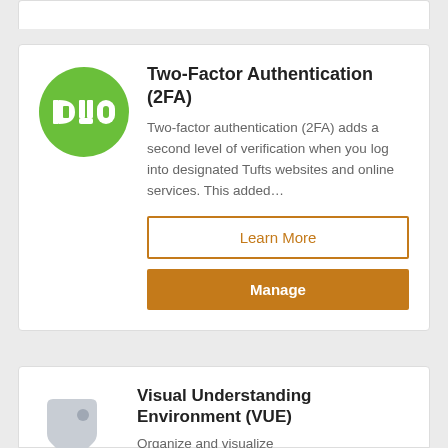[Figure (logo): Duo Security logo — white 'DUO' text on green circle]
Two-Factor Authentication (2FA)
Two-factor authentication (2FA) adds a second level of verification when you log into designated Tufts websites and online services. This added...
Learn More
Manage
[Figure (logo): Price tag / label icon in light gray]
Visual Understanding Environment (VUE)
Organize and visualize